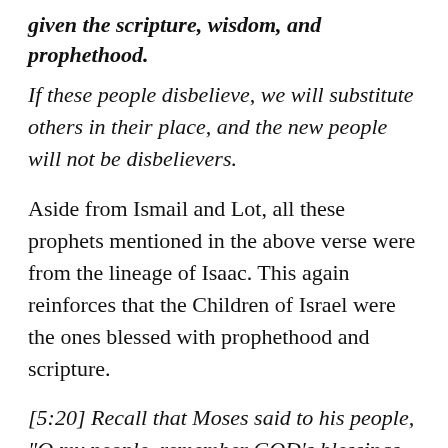given the scripture, wisdom, and prophethood.
If these people disbelieve, we will substitute others in their place, and the new people will not be disbelievers.
Aside from Ismail and Lot, all these prophets mentioned in the above verse were from the lineage of Isaac. This again reinforces that the Children of Israel were the ones blessed with prophethood and scripture.
[5:20] Recall that Moses said to his people, “O my people, remember GOD’s blessings upon you: He appointed prophets from among you, made you